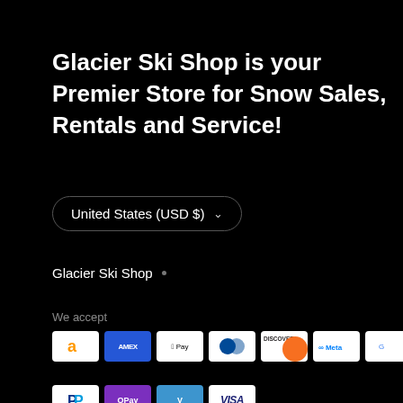Glacier Ski Shop is your Premier Store for Snow Sales, Rentals and Service!
United States (USD $)
Glacier Ski Shop
We accept
[Figure (logo): Payment method icons: Amazon Pay, American Express, Apple Pay, Diners Club, Discover, Meta Pay, Google Pay, Mastercard, PayPal, OPay, Venmo, Visa]